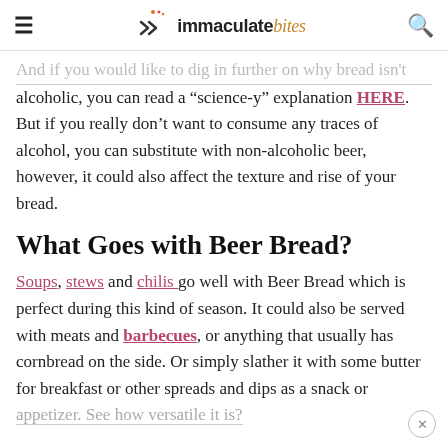immaculate bites
And if you would like to dig in further on why bread isn't alcoholic, you can read a “science-y” explanation HERE. But if you really don’t want to consume any traces of alcohol, you can substitute with non-alcoholic beer, however, it could also affect the texture and rise of your bread.
What Goes with Beer Bread?
Soups, stews and chilis go well with Beer Bread which is perfect during this kind of season. It could also be served with meats and barbecues, or anything that usually has cornbread on the side. Or simply slather it with some butter for breakfast or other spreads and dips as a snack or appetizer. See how versatile it is?